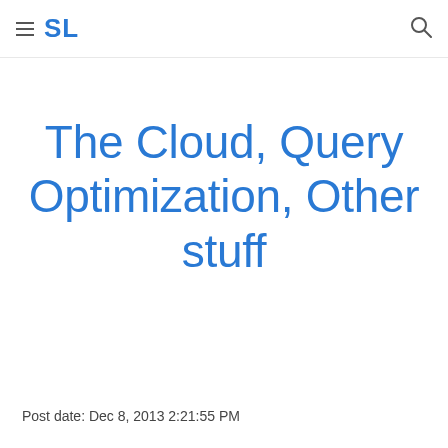SL
The Cloud, Query Optimization, Other stuff
Post date: Dec 8, 2013 2:21:55 PM